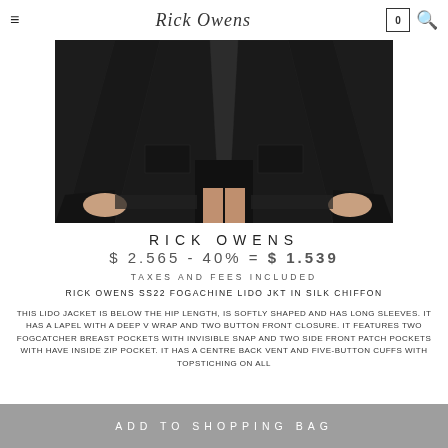Rick Owens — navigation header with hamburger menu, logo, cart (0), search
[Figure (photo): Product photo of Rick Owens SS22 Fogachine Lido Jacket in Silk Chiffon — black jacket worn by model, cropped to show torso and shorts, dark background]
RICK OWENS
$ 2.565 - 40% = $ 1.539
TAXES AND FEES INCLUDED
RICK OWENS SS22 FOGACHINE LIDO JKT IN SILK CHIFFON
THIS LIDO JACKET IS BELOW THE HIP LENGTH, IS SOFTLY SHAPED AND HAS LONG SLEEVES. IT HAS A LAPEL WITH A DEEP V WRAP AND TWO BUTTON FRONT CLOSURE. IT FEATURES TWO FOGCATCHER BREAST POCKETS WITH INVISIBLE SNAP AND TWO SIDE FRONT PATCH POCKETS WITH HAVE INSIDE ZIP POCKET. IT HAS A CENTRE BACK VENT AND FIVE-BUTTON CUFFS WITH TOPSTICHING ON ALL
ADD TO SHOPPING BAG